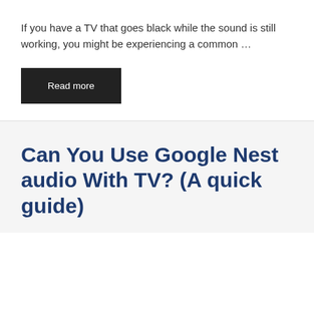If you have a TV that goes black while the sound is still working, you might be experiencing a common …
Read more
Can You Use Google Nest audio With TV? (A quick guide)